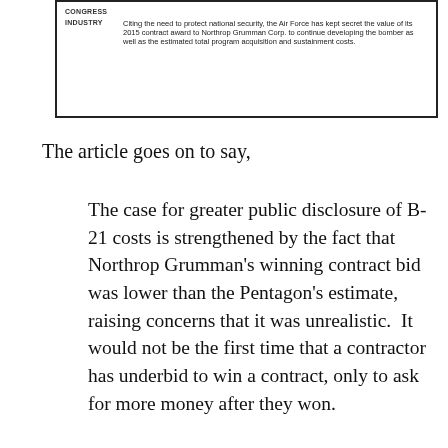| Category | Description |
| --- | --- |
| CONGRESS |  |
| INDUSTRY | Citing the need to protect national security, the Air Force has kept secret the value of its 2015 contract award to Northrop Grumman Corp. to continue developing the bomber as well as the estimated total program acquisition and sustainment costs. |
The article goes on to say,
The case for greater public disclosure of B-21 costs is strengthened by the fact that Northrop Grumman’s winning contract bid was lower than the Pentagon’s estimate, raising concerns that it was unrealistic.  It would not be the first time that a contractor has underbid to win a contract, only to ask for more money after they won.